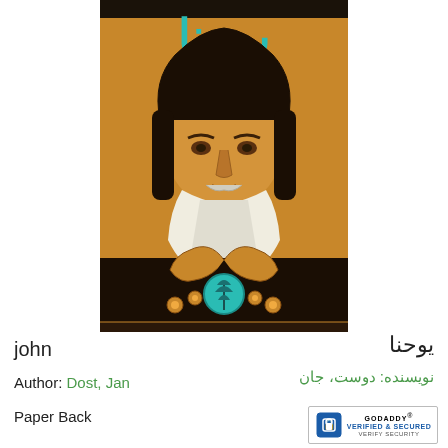[Figure (illustration): Book cover of 'john' (یوحنا) showing a Byzantine-style icon portrait of a bearded man (Saint John) with stylized floral/plant motifs, Persian text at top reading 'یوحنا' in teal and subtitle text, orange/brown color scheme with a teal circular emblem at the bottom center.]
john
یوحنا
Author: Dost, Jan
نویسنده: دوست، جان
Paper Back